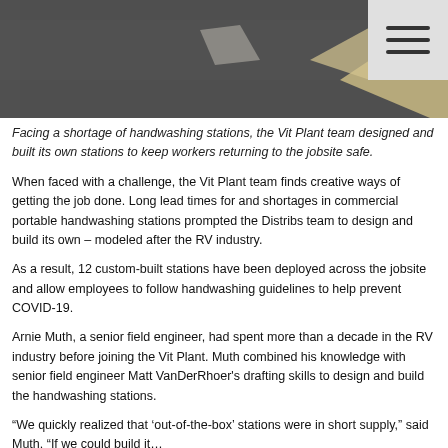[Figure (photo): Aerial or ground-level view of a dark asphalt surface with white/tan geometric shapes or markings, possibly a road or construction site]
Facing a shortage of handwashing stations, the Vit Plant team designed and built its own stations to keep workers returning to the jobsite safe.
When faced with a challenge, the Vit Plant team finds creative ways of getting the job done. Long lead times for and shortages in commercial portable handwashing stations prompted the Distribs team to design and build its own – modeled after the RV industry.
As a result, 12 custom-built stations have been deployed across the jobsite and allow employees to follow handwashing guidelines to help prevent COVID-19.
Arnie Muth, a senior field engineer, had spent more than a decade in the RV industry before joining the Vit Plant. Muth combined his knowledge with senior field engineer Matt VanDerRhoer's drafting skills to design and build the handwashing stations.
“We quickly realized that ‘out-of-the-box’ stations were in short supply,” said Muth. “If we could build our own...